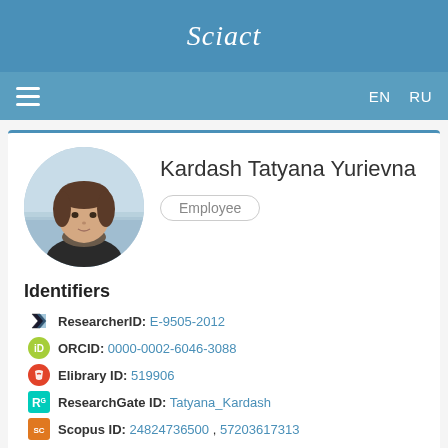Sciact
EN  RU
Kardash Tatyana Yurievna
Employee
Identifiers
ResearcherID: E-9505-2012
ORCID: 0000-0002-6046-3088
Elibrary ID: 519906
ResearchGate ID: Tatyana_Kardash
Scopus ID: 24824736500 , 57203617313
Degrees